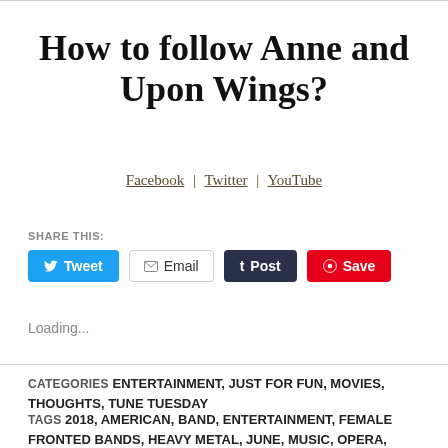How to follow Anne and Upon Wings?
Facebook | Twitter | YouTube
SHARE THIS:
Tweet  Email  Post  Save
Loading...
CATEGORIES ENTERTAINMENT, JUST FOR FUN, MOVIES, THOUGHTS, TUNE TUESDAY
TAGS 2018, AMERICAN, BAND, ENTERTAINMENT, FEMALE FRONTED BANDS, HEAVY METAL, JUNE, MUSIC, OPERA,